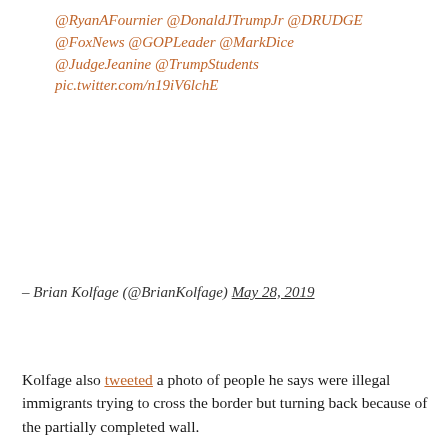@RyanAFournier @DonaldJTrumpJr @DRUDGE @FoxNews @GOPLeader @MarkDice @JudgeJeanine @TrumpStudents pic.twitter.com/n19iV6lchE
– Brian Kolfage (@BrianKolfage) May 28, 2019
Kolfage also tweeted a photo of people he says were illegal immigrants trying to cross the border but turning back because of the partially completed wall.